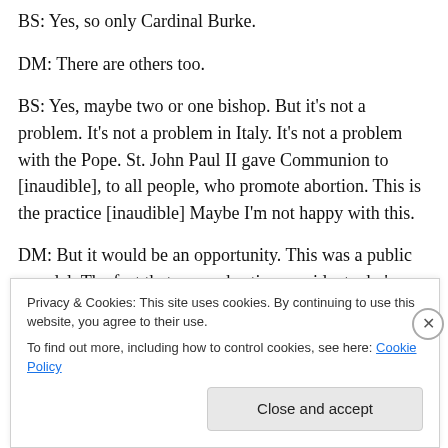BS: Yes, so only Cardinal Burke.
DM: There are others too.
BS: Yes, maybe two or one bishop. But it's not a problem. It's not a problem in Italy. It's not a problem with the Pope. St. John Paul II gave Communion to [inaudible], to all people, who promote abortion. This is the practice [inaudible] Maybe I'm not happy with this.
DM: But it would be an opportunity. This was a public scandal. The fact that a pro-abortion president who's sleeping with his mistress.
Privacy & Cookies: This site uses cookies. By continuing to use this website, you agree to their use.
To find out more, including how to control cookies, see here: Cookie Policy
Close and accept